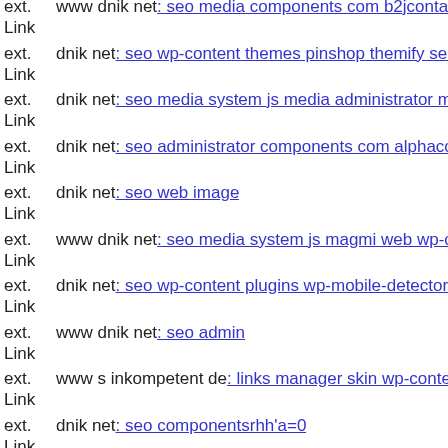ext. Link www dnik net: seo media components com b2jcontactuxekv t
ext. Link dnik net: seo wp-content themes pinshop themify seo media sy
ext. Link dnik net: seo media system js media administrator modules mo
ext. Link dnik net: seo administrator components com alphacontent asset
ext. Link dnik net: seo web image
ext. Link www dnik net: seo media system js magmi web wp-content the
ext. Link dnik net: seo wp-content plugins wp-mobile-detector cachermg
ext. Link www dnik net: seo admin
ext. Link www s inkompetent de: links manager skin wp-content plugins
ext. Link dnik net: seo componentsrhh'a=0
ext. Link www dnik net: seo administrator administrator components co
ext. Link dnik net: seo cron env